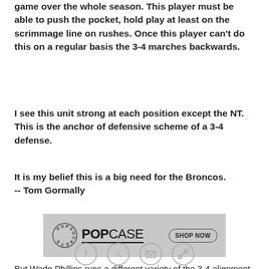game over the whole season. This player must be able to push the pocket, hold play at least on the scrimmage line on rushes. Once this player can't do this on a regular basis the 3-4 marches backwards.
I see this unit strong at each position except the NT. This is the anchor of defensive scheme of a 3-4 defense.
It is my belief this is a big need for the Broncos.
-- Tom Gormally
[Figure (other): PopSockets PopCase advertisement banner with logo and SHOP NOW button]
But Wade Phillips runs a different variety of the 3-4 alignment, one in which the nose tackle doesn't simply